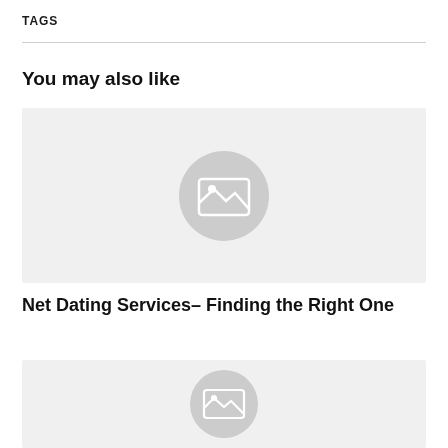TAGS
You may also like
[Figure (illustration): Placeholder image thumbnail with grey background and image icon]
Net Dating Services– Finding the Right One
[Figure (illustration): Placeholder image thumbnail with grey background and image icon (partially visible)]